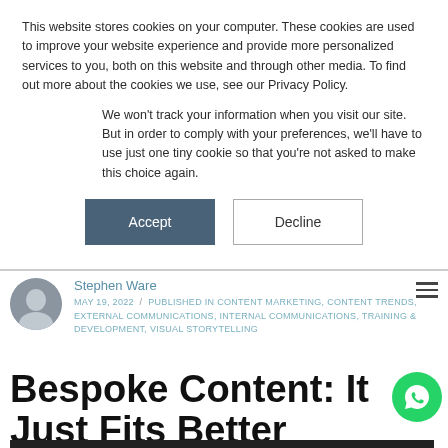This website stores cookies on your computer. These cookies are used to improve your website experience and provide more personalized services to you, both on this website and through other media. To find out more about the cookies we use, see our Privacy Policy.
We won't track your information when you visit our site. But in order to comply with your preferences, we'll have to use just one tiny cookie so that you're not asked to make this choice again.
Accept | Decline
Stephen Ware
MAY 19, 2022 / PUBLISHED IN CONTENT MARKETING, CONTENT TRENDS, EXTERNAL COMMUNICATIONS, INTERNAL COMMUNICATIONS, TRAINING & DEVELOPMENT, VISUAL STORYTELLING
Bespoke Content: It Just Fits Better